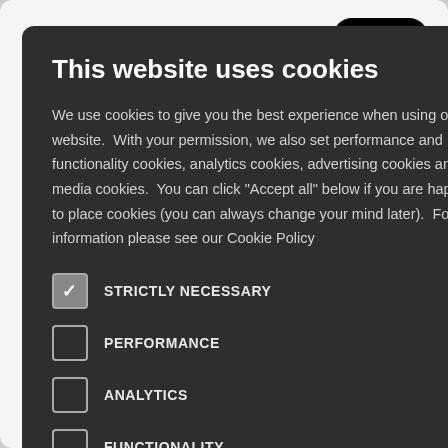[Figure (screenshot): Background website with Follow button, tweet text mentioning 'y and the', 's a critical ally', 'supports your', '#ocean' link, and a dark navy block]
This website uses cookies
We use cookies to give you the best experience when using our website.  With your permission, we also set performance and functionality cookies, analytics cookies, advertising cookies and social media cookies.  You can click "Accept all" below if you are happy for us to place cookies (you can always change your mind later).  For more information please see our Cookie Policy
STRICTLY NECESSARY (checked)
PERFORMANCE
ANALYTICS
FUNCTIONALITY
SOCIAL MEDIA